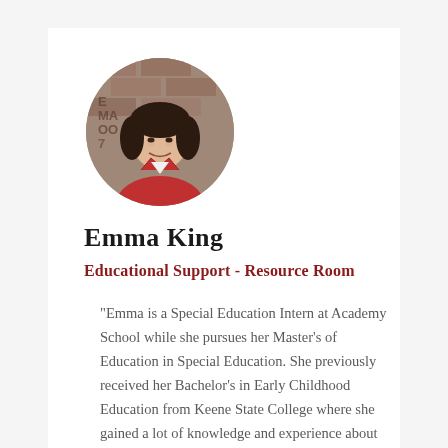[Figure (photo): Circular portrait photo of Emma King, a young woman with dark hair, smiling, wearing a red jacket, with a brick wall background.]
Emma King
Educational Support - Resource Room
"Emma is a Special Education Intern at Academy School while she pursues her Master's of Education in Special Education. She previously received her Bachelor's in Early Childhood Education from Keene State College where she gained a lot of knowledge and experience about the development and education of young children.